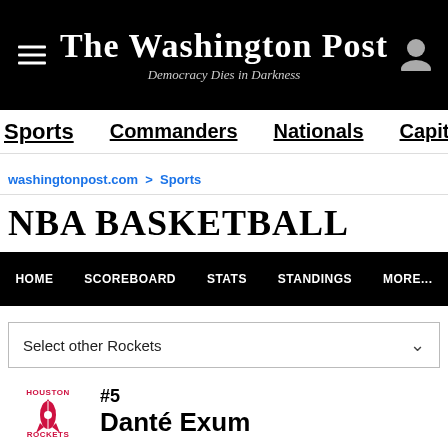The Washington Post — Democracy Dies in Darkness
Sports | Commanders | Nationals | Capitals | Wiza
washingtonpost.com > Sports
NBA BASKETBALL
HOME | SCOREBOARD | STATS | STANDINGS | MORE...
Select other Rockets
#5 Danté Exum